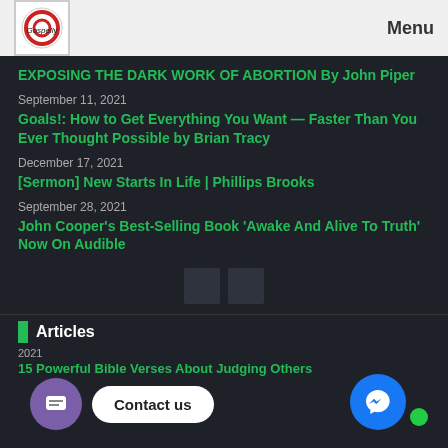Gospelly | Menu
EXPOSING THE DARK WORK OF ABORTION By John Piper
September 11, 2021
Goals!: How to Get Everything You Want — Faster Than You Ever Thought Possible by Brian Tracy
December 17, 2021
[Sermon] New Starts In Life | Phillips Brooks
September 28, 2021
John Cooper's Best-Selling Book 'Awake And Alive To Truth' Now On Audible
Articles
2021
15 Powerful Bible Verses About Judging Others